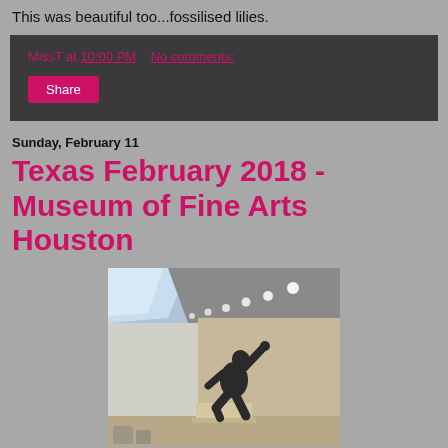This was beautiful too...fossilised lilies.
MissT at 10:00 PM   No comments:
Share
Sunday, February 11
Texas February 2018 - Museum of Fine Arts Houston
[Figure (photo): Interior of Museum of Fine Arts Houston showing a large sculptural figure mounted on or near a wall, with recessed ceiling lights and a skylight above. The sculpture appears to be a dark bronze human figure in a dynamic pose.]